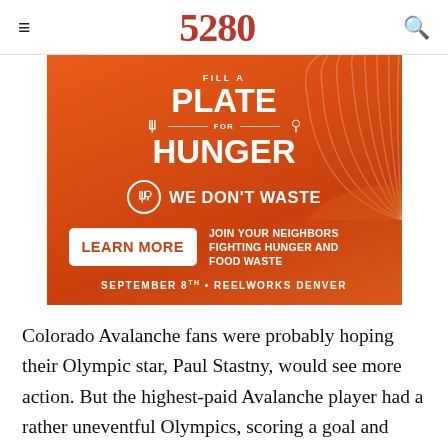5280
[Figure (infographic): Fill a Plate for Hunger advertisement for We Don't Waste organization. Orange gradient background with concentric arc patterns. Text: FILL A PLATE FOR HUNGER, WE DON'T WASTE logo, LEARN MORE button, JOIN YOUR NEIGHBORS FIGHTING HUNGER AND FOOD WASTE, SEPTEMBER 8TH • REELWORKS DENVER]
Colorado Avalanche fans were probably hoping their Olympic star, Paul Stastny, would see more action. But the highest-paid Avalanche player had a rather uneventful Olympics, scoring a goal and